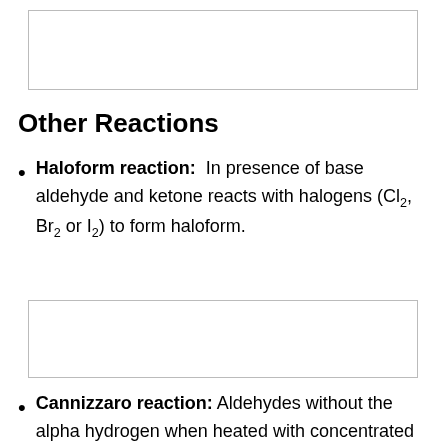[Figure (other): Empty bordered rectangle box at the top of the page]
Other Reactions
Haloform reaction: In presence of base aldehyde and ketone reacts with halogens (Cl2, Br2 or I2) to form haloform.
[Figure (other): Empty bordered rectangle box in the middle of the page]
Cannizzaro reaction: Aldehydes without the alpha hydrogen when heated with concentrated NaOH